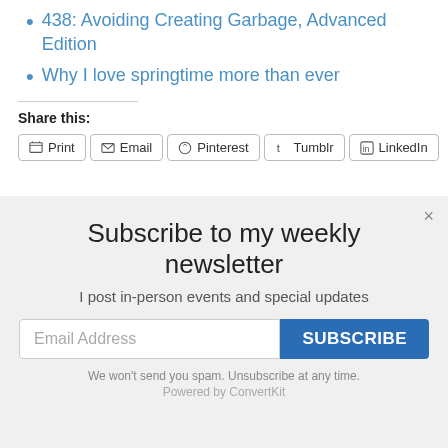438: Avoiding Creating Garbage, Advanced Edition
Why I love springtime more than ever
Share this:
[Figure (screenshot): Share buttons: Print, Email, Pinterest, Tumblr, LinkedIn]
Subscribe to my weekly newsletter
I post in-person events and special updates
Email Address
SUBSCRIBE
We won't send you spam. Unsubscribe at any time.
Powered by ConvertKit